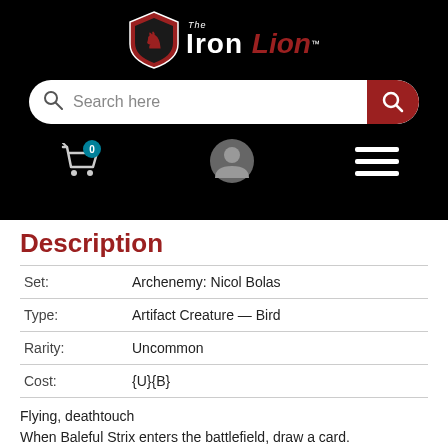[Figure (logo): The Iron Lion logo with shield emblem, white and red text on black background]
[Figure (screenshot): Mobile website navigation: search bar with 'Search here' placeholder and red search button, cart icon with badge showing 0, user profile icon, hamburger menu]
Description
| Set: | Archenemy: Nicol Bolas |
| Type: | Artifact Creature — Bird |
| Rarity: | Uncommon |
| Cost: | {U}{B} |
Flying, deathtouch
When Baleful Strix enters the battlefield, draw a card.
Its beak rends flesh and bone, exposing the tender